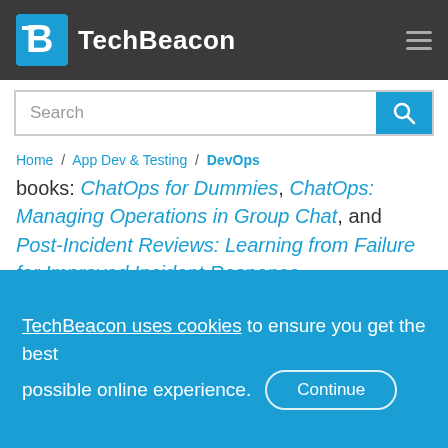TechBeacon
Search
Home / App Dev & Testing / DevOps
books: ChatOps for Dummies, ChatOps: Managing Operations in Group Chat, and Post-Incident Reviews: Learning from Failure for Improved Incident Response.
J:Hand
TechBeacon uses cookies to ensure you get the best possible online experience. Continue